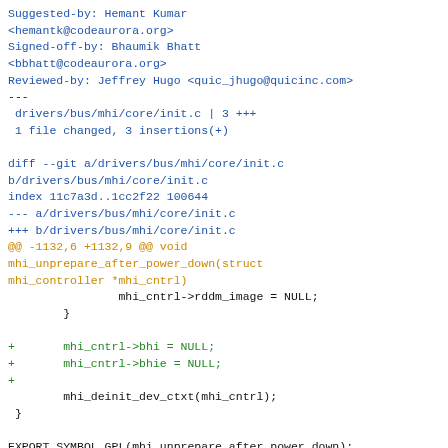Suggested-by: Hemant Kumar
<hemantk@codeaurora.org>
Signed-off-by: Bhaumik Bhatt
<bbhatt@codeaurora.org>
Reviewed-by: Jeffrey Hugo <quic_jhugo@quicinc.com>
---
 drivers/bus/mhi/core/init.c | 3 +++
 1 file changed, 3 insertions(+)

diff --git a/drivers/bus/mhi/core/init.c
b/drivers/bus/mhi/core/init.c
index 11c7a3d..1cc2f22 100644
--- a/drivers/bus/mhi/core/init.c
+++ b/drivers/bus/mhi/core/init.c
@@ -1132,6 +1132,9 @@ void
mhi_unprepare_after_power_down(struct
mhi_controller *mhi_cntrl)
                mhi_cntrl->rddm_image = NULL;
        }

+       mhi_cntrl->bhi = NULL;
+       mhi_cntrl->bhie = NULL;
+
        mhi_deinit_dev_ctxt(mhi_cntrl);
 }

EXPORT_SYMBOL_GPL(mhi_unprepare_after_power_down);
--
The Qualcomm Innovation Center, Inc. is a member
of the Code Aurora Forum,